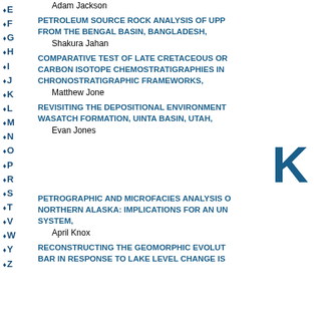Adam Jackson
PETROLEUM SOURCE ROCK ANALYSIS OF UPP FROM THE BENGAL BASIN, BANGLADESH,
Shakura Jahan
COMPARATIVE TEST OF LATE CRETACEOUS OR CARBON ISOTOPE CHEMOSTRATIGRAPHIES IN CHRONOSTRATIGRAPHIC FRAMEWORKS,
Matthew Jone
REVISITING THE DEPOSITIONAL ENVIRONMENT WASATCH FORMATION, UINTA BASIN, UTAH,
Evan Jones
K
PETROGRAPHIC AND MICROFACIES ANALYSIS O NORTHERN ALASKA: IMPLICATIONS FOR AN UN SYSTEM,
April Knox
RECONSTRUCTING THE GEOMORPHIC EVOLUT BAR IN RESPONSE TO LAKE LEVEL CHANGE IS